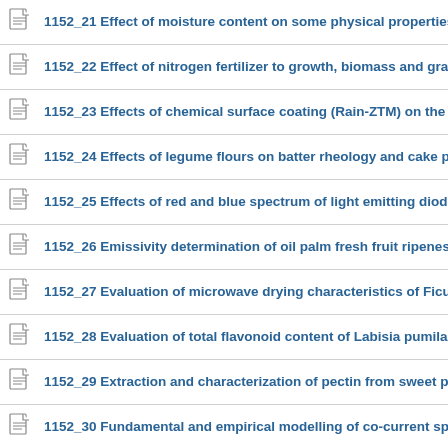1152_21 Effect of moisture content on some physical properties of mucur...
1152_22 Effect of nitrogen fertilizer to growth, biomass and grain yield of p...
1152_23 Effects of chemical surface coating (Rain-ZTM) on the powder yie...
1152_24 Effects of legume flours on batter rheology and cake physical qu...
1152_25 Effects of red and blue spectrum of light emitting diodes (LEDs) o...
1152_26 Emissivity determination of oil palm fresh fruit ripeness using a t...
1152_27 Evaluation of microwave drying characteristics of Ficus deltoides...
1152_28 Evaluation of total flavonoid content of Labisia pumila leaves bas...
1152_29 Extraction and characterization of pectin from sweet potato (Ipom...
1152_30 Fundamental and empirical modelling of co-current spray drying...
1152_31 Gel-based proteomic study for differential expression of Hevea b...
1152_32 Inculcating herbal plots as effective cooling mechanism in urban...